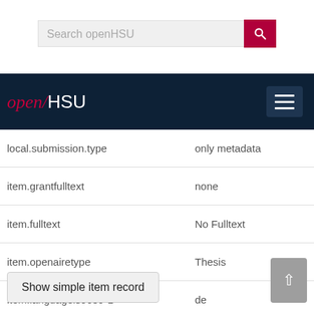[Figure (screenshot): Search bar for openHSU with pink search button and magnifying glass icon]
[Figure (screenshot): openHSU navigation bar with logo and hamburger menu button on dark navy background]
| Field | Value |
| --- | --- |
| local.submission.type | only metadata |
| item.grantfulltext | none |
| item.fulltext | No Fulltext |
| item.openairetype | Thesis |
| item.languageiso639-1 | de |
| item.fulltext_s | No Fulltext |
| Appears in Collections: | 2018 |
Show simple item record